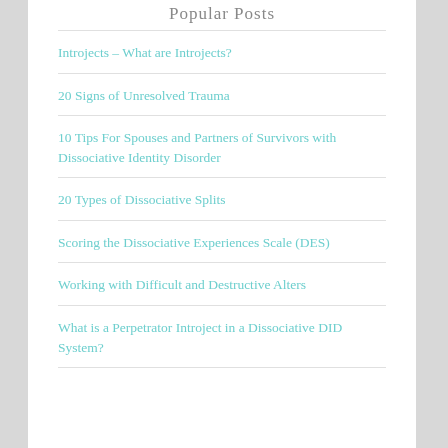Popular Posts
Introjects – What are Introjects?
20 Signs of Unresolved Trauma
10 Tips For Spouses and Partners of Survivors with Dissociative Identity Disorder
20 Types of Dissociative Splits
Scoring the Dissociative Experiences Scale (DES)
Working with Difficult and Destructive Alters
What is a Perpetrator Introject in a Dissociative DID System?